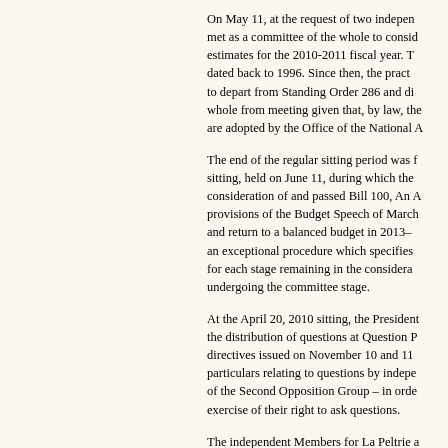On May 11, at the request of two independent members, the Assembly met as a committee of the whole to consider and pass the supplementary estimates for the 2010-2011 fiscal year. The last such precedent dated back to 1996. Since then, the practice had been for the Assembly to depart from Standing Order 286 and dispense with the committee of the whole from meeting given that, by law, the supplementary estimates are adopted by the Office of the National A...
The end of the regular sitting period was for the last sitting, held on June 11, during which the Assembly gave consideration of and passed Bill 100, An A... provisions of the Budget Speech of March... and return to a balanced budget in 2013-... an exceptional procedure which specifies for each stage remaining in the consideration... undergoing the committee stage.
At the April 20, 2010 sitting, the President... the distribution of questions at Question P... directives issued on November 10 and 11... particulars relating to questions by independent... of the Second Opposition Group – in order... exercise of their right to ask questions.
The independent Members for La Peltrie and... Chaudière are each entitled to one question... not ask their question at the same sitting as... Group, which is entitled to five questions p... Second Opposition Group decides not to...